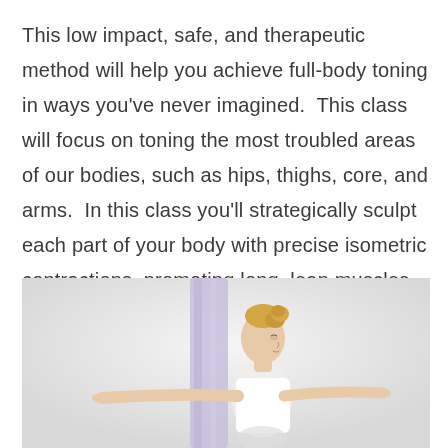This low impact, safe, and therapeutic method will help you achieve full-body toning in ways you've never imagined.  This class will focus on toning the most troubled areas of our bodies, such as hips, thighs, core, and arms.  In this class you'll strategically sculpt each part of your body with precise isometric contractions, promoting long, lean muscles.
[Figure (photo): A woman with blonde hair in a bun, wearing a white top, performing an aerial or barre exercise with a lavender fabric/silk prop hanging vertically beside her. Her arms are extended outward. The background is light grey/white.]